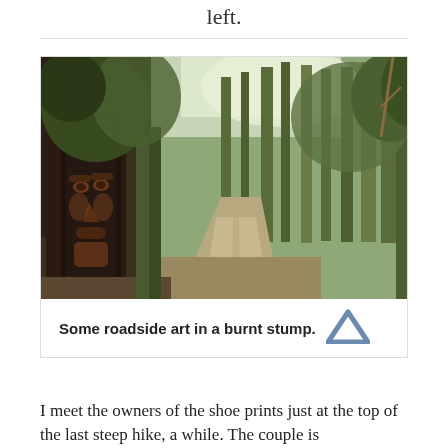left.
[Figure (photo): A dirt road through bushland with a carved face in a burnt tree stump on the left side of the road.]
Some roadside art in a burnt stump.
I meet the owners of the shoe prints just at the top of the last steep hike, a while. The couple is